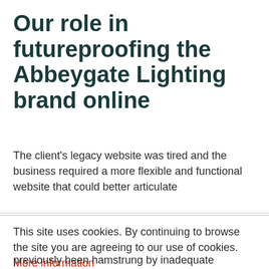Our role in futureproofing the Abbeygate Lighting brand online
The client's legacy website was tired and the business required a more flexible and functional website that could better articulate
This site uses cookies. By continuing to browse the site you are agreeing to our use of cookies. More information
previously been hamstrung by inadequate